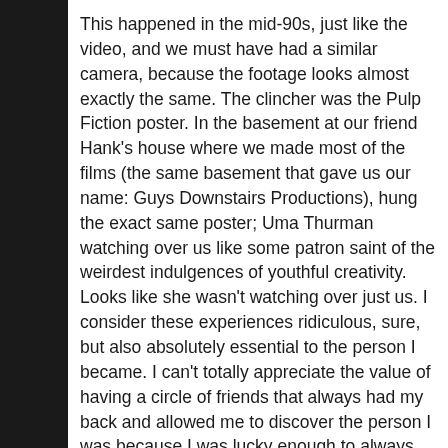This happened in the mid-90s, just like the video, and we must have had a similar camera, because the footage looks almost exactly the same. The clincher was the Pulp Fiction poster. In the basement at our friend Hank's house where we made most of the films (the same basement that gave us our name: Guys Downstairs Productions), hung the exact same poster; Uma Thurman watching over us like some patron saint of the weirdest indulgences of youthful creativity. Looks like she wasn't watching over just us. I consider these experiences ridiculous, sure, but also absolutely essential to the person I became. I can't totally appreciate the value of having a circle of friends that always had my back and allowed me to discover the person I was because I was lucky enough to always have that. And I know everyone else in the group felt the same way. Still does, in fact.